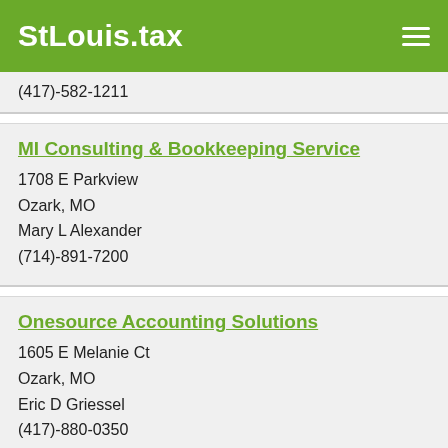StLouis.tax
(417)-582-1211
MI Consulting & Bookkeeping Service
1708 E Parkview
Ozark, MO
Mary L Alexander
(714)-891-7200
Onesource Accounting Solutions
1605 E Melanie Ct
Ozark, MO
Eric D Griessel
(417)-880-0350
Padgett Business Services
6184 Meadowview Ddr
Ozark, MO
Jason M Jordan